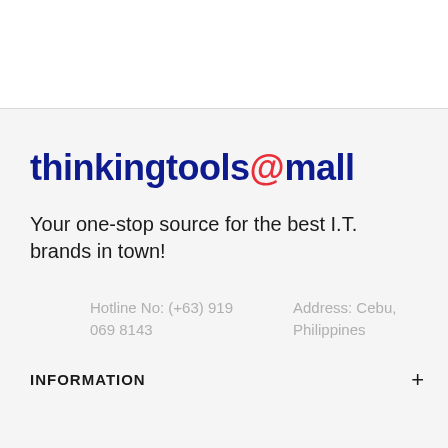thinkingtools@mall
Your one-stop source for the best I.T. brands in town!
Hotline No: (+63) 919 069 8143
Address: Cebu, Philippines
INFORMATION